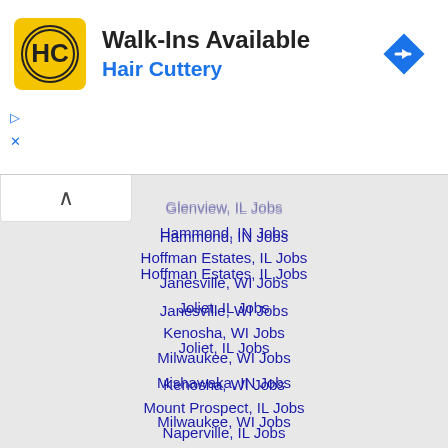[Figure (logo): Hair Cuttery advertisement banner with HC logo, 'Walk-Ins Available' heading, 'Hair Cuttery' subtitle in blue, and a navigation/direction icon on the right]
Glenview, IL Jobs (partially visible)
Hammond, IN Jobs
Hoffman Estates, IL Jobs
Janesville, WI Jobs
Joliet, IL Jobs
Kenosha, WI Jobs
Milwaukee, WI Jobs
Mishawaka, IN Jobs
Mount Prospect, IL Jobs
Naperville, IL Jobs
Oak Lawn, IL Jobs
Oak Park, IL Jobs
Orland Park, IL Jobs
Palatine, IL Jobs
Racine, WI Jobs